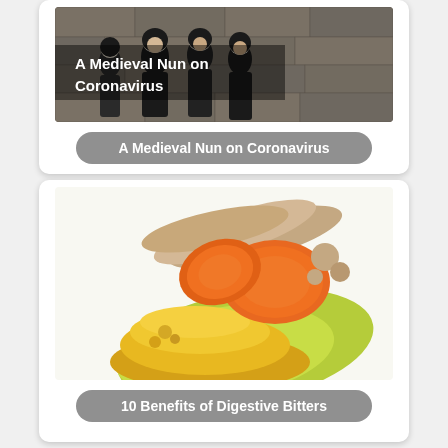[Figure (photo): Photo of medieval nuns in a stone building with text overlay 'A Medieval Nun on Coronavirus']
A Medieval Nun on Coronavirus
[Figure (photo): Photo of turmeric roots, sliced turmeric, and yellow turmeric powder on a green leaf]
10 Benefits of Digestive Bitters